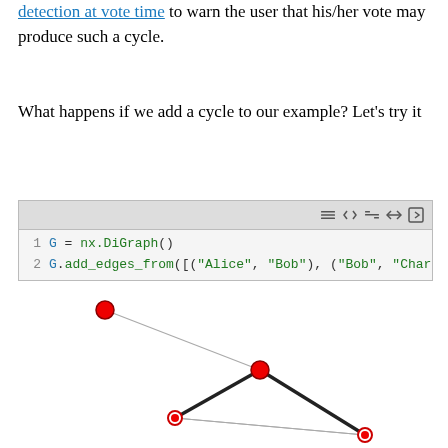detection at vote time to warn the user that his/her vote may produce such a cycle.
What happens if we add a cycle to our example? Let's try it
[Figure (screenshot): Code editor snippet showing: 1  G = nx.DiGraph()  2  G.add_edges_from([("Alice", "Bob"), ("Bob", "Charli...]
[Figure (network-graph): A directed graph with 4 red nodes connected by edges forming a network, with thick black arrows indicating directed edges.]